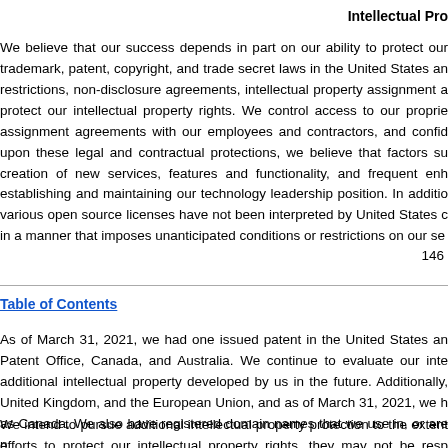Intellectual Pro
We believe that our success depends in part on our ability to protect our trademark, patent, copyright, and trade secret laws in the United States an restrictions, non-disclosure agreements, intellectual property assignment a protect our intellectual property rights. We control access to our proprie assignment agreements with our employees and contractors, and confid upon these legal and contractual protections, we believe that factors su creation of new services, features and functionality, and frequent enh establishing and maintaining our technology leadership position. In additio various open source licenses have not been interpreted by United States c in a manner that imposes unanticipated conditions or restrictions on our se
146
Table of Contents
As of March 31, 2021, we had one issued patent in the United States an Patent Office, Canada, and Australia. We continue to evaluate our inte additional intellectual property developed by us in the future. Additionally, United Kingdom, and the European Union, and as of March 31, 2021, we h as Canada. We also have registered domain names that we use in, or are n
We intend to pursue additional intellectual property protection to the extent efforts to protect our intellectual property rights, they may not be resp challenged. For additional information, see the section titled “Risk Fa